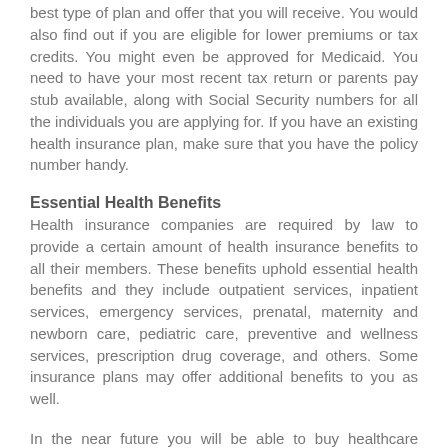best type of plan and offer that you will receive. You would also find out if you are eligible for lower premiums or tax credits. You might even be approved for Medicaid. You need to have your most recent tax return or parents pay stub available, along with Social Security numbers for all the individuals you are applying for. If you have an existing health insurance plan, make sure that you have the policy number handy.
Essential Health Benefits
Health insurance companies are required by law to provide a certain amount of health insurance benefits to all their members. These benefits uphold essential health benefits and they include outpatient services, inpatient services, emergency services, prenatal, maternity and newborn care, pediatric care, preventive and wellness services, prescription drug coverage, and others. Some insurance plans may offer additional benefits to you as well.
In the near future you will be able to buy healthcare insurance even if you are sick. If you previously applied for insurance and you were denied coverage, you cannot be